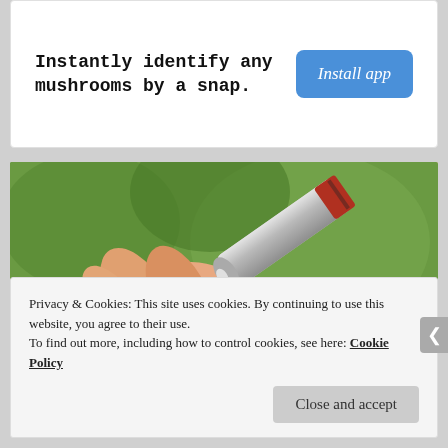Instantly identify any mushrooms by a snap.
[Figure (other): Blue 'Install app' button]
[Figure (photo): Close-up photo of a hand holding a small silver tube or pen-like object outdoors with green bokeh background]
Privacy & Cookies: This site uses cookies. By continuing to use this website, you agree to their use.
To find out more, including how to control cookies, see here: Cookie Policy
Close and accept